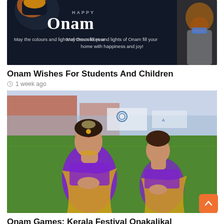[Figure (photo): Happy Onam greeting image with dark background, showing text 'Happy Onam' and 'May the colours and lights of Onam fill your home with happiness and joy!' with a character wearing a mask on the right]
Onam Wishes For Students And Children
1 week ago
[Figure (photo): Two women in traditional Kerala attire (purple and gold sarees) with hands in namaste pose, performing at what appears to be an outdoor event or stadium]
Onam Games: Kerala Festival Onakalikal
1 week ago